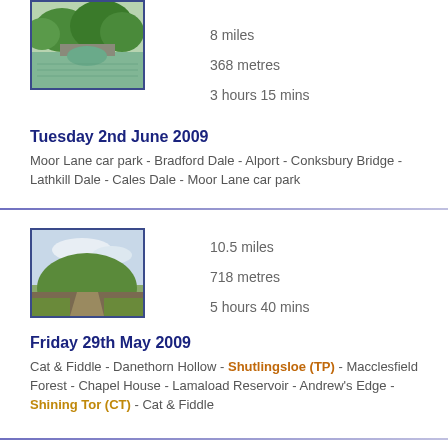[Figure (photo): Scenic canal or river with stone bridge arches reflected in water, surrounded by green trees]
8 miles
368 metres
3 hours 15 mins
Tuesday 2nd June 2009
Moor Lane car park - Bradford Dale - Alport - Conksbury Bridge - Lathkill Dale - Cales Dale - Moor Lane car park
[Figure (photo): Countryside landscape with a rounded hill, green fields, path in foreground and cloudy sky]
10.5 miles
718 metres
5 hours 40 mins
Friday 29th May 2009
Cat & Fiddle - Danethorn Hollow - Shutlingsloe (TP) - Macclesfield Forest - Chapel House - Lamaload Reservoir - Andrew's Edge - Shining Tor (CT) - Cat & Fiddle